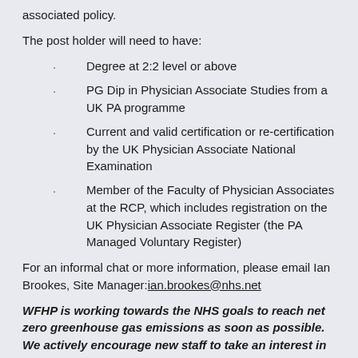associated policy.
The post holder will need to have:
Degree at 2:2 level or above
PG Dip in Physician Associate Studies from a UK PA programme
Current and valid certification or re-certification by the UK Physician Associate National Examination
Member of the Faculty of Physician Associates at the RCP, which includes registration on the UK Physician Associate Register (the PA Managed Voluntary Register)
For an informal chat or more information, please email Ian Brookes, Site Manager: ian.brookes@nhs.net
WFHP is working towards the NHS goals to reach net zero greenhouse gas emissions as soon as possible. We actively encourage new staff to take an interest in this and build sustainable practice into their roles.